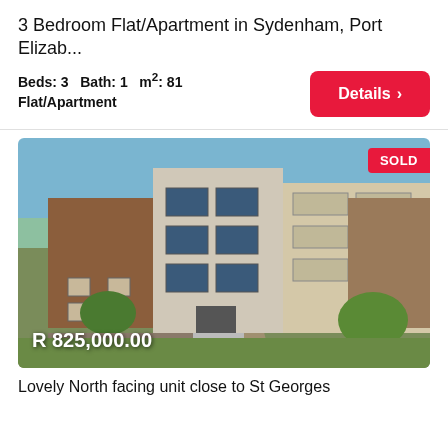3 Bedroom Flat/Apartment in Sydenham, Port Elizab...
Beds: 3   Bath: 1   m²: 81
Flat/Apartment
[Figure (photo): Exterior photo of a multi-storey residential apartment building in Sydenham, Port Elizabeth. The brick and plaster building has 3-4 floors with large windows and balconies. A driveway leads to the main entrance. Green trees and lawn are visible. A red 'SOLD' badge appears in the top-right corner of the image. The price 'R 825,000.00' is shown in white text at the bottom-left.]
Lovely North facing unit close to St Georges